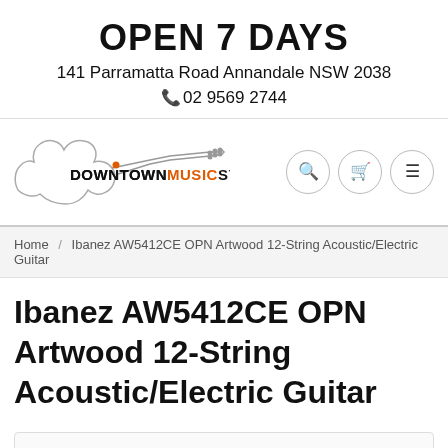OPEN 7 DAYS
141 Parramatta Road Annandale NSW 2038
☎02 9569 2744
[Figure (logo): Downtown Music Sydney logo with guitar silhouette graphic and text DOWNTOWNMUSICSYDNEY]
Home / Ibanez AW5412CE OPN Artwood 12-String Acoustic/Electric Guitar
Ibanez AW5412CE OPN Artwood 12-String Acoustic/Electric Guitar